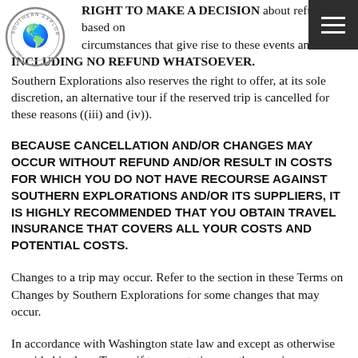RIGHT TO MAKE A DECISION about refunds based on circumstances that give rise to these events and the INCLUDING NO REFUND WHATSOEVER.
Southern Explorations also reserves the right to offer, at its sole discretion, an alternative tour if the reserved trip is cancelled for these reasons ((iii) and (iv)).
BECAUSE CANCELLATION AND/OR CHANGES MAY OCCUR WITHOUT REFUND AND/OR RESULT IN COSTS FOR WHICH YOU DO NOT HAVE RECOURSE AGAINST SOUTHERN EXPLORATIONS AND/OR ITS SUPPLIERS, IT IS HIGHLY RECOMMENDED THAT YOU OBTAIN TRAVEL INSURANCE THAT COVERS ALL YOUR COSTS AND POTENTIAL COSTS.
Changes to a trip may occur. Refer to the section in these Terms on Changes by Southern Explorations for some changes that may occur.
In accordance with Washington state law and except as otherwise provided in these Terms, if transportation or other services are canceled by us, all sums paid to us for